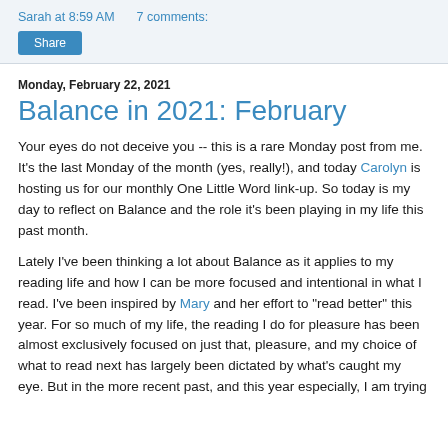Sarah at 8:59 AM   7 comments:
Share
Monday, February 22, 2021
Balance in 2021: February
Your eyes do not deceive you -- this is a rare Monday post from me. It's the last Monday of the month (yes, really!), and today Carolyn is hosting us for our monthly One Little Word link-up. So today is my day to reflect on Balance and the role it's been playing in my life this past month.
Lately I've been thinking a lot about Balance as it applies to my reading life and how I can be more focused and intentional in what I read. I've been inspired by Mary and her effort to "read better" this year. For so much of my life, the reading I do for pleasure has been almost exclusively focused on just that, pleasure, and my choice of what to read next has largely been dictated by what's caught my eye. But in the more recent past, and this year especially, I am trying